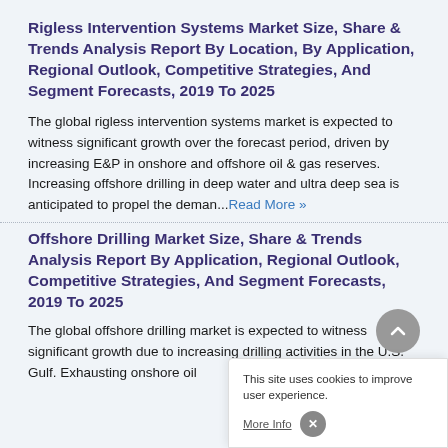Rigless Intervention Systems Market Size, Share & Trends Analysis Report By Location, By Application, Regional Outlook, Competitive Strategies, And Segment Forecasts, 2019 To 2025
The global rigless intervention systems market is expected to witness significant growth over the forecast period, driven by increasing E&P in onshore and offshore oil & gas reserves. Increasing offshore drilling in deep water and ultra deep sea is anticipated to propel the deman...Read More »
Offshore Drilling Market Size, Share & Trends Analysis Report By Application, Regional Outlook, Competitive Strategies, And Segment Forecasts, 2019 To 2025
The global offshore drilling market is expected to witness significant growth due to increasing drilling activities in the U.S. Gulf. Exhausting onshore oil...